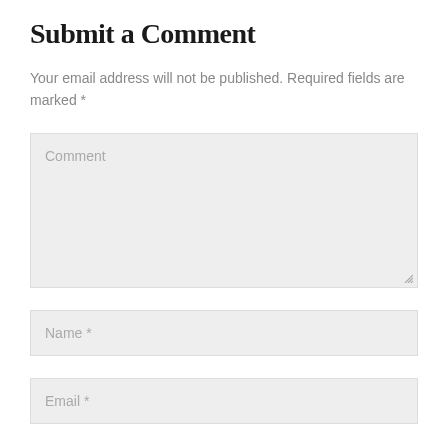Submit a Comment
Your email address will not be published. Required fields are marked *
[Figure (other): Comment textarea input box with placeholder text 'Comment' and resize handle in bottom-right corner]
[Figure (other): Name text input field with placeholder text 'Name *']
[Figure (other): Email text input field with placeholder text 'Email *']